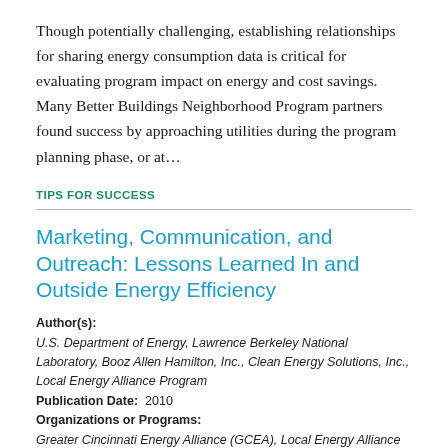Though potentially challenging, establishing relationships for sharing energy consumption data is critical for evaluating program impact on energy and cost savings. Many Better Buildings Neighborhood Program partners found success by approaching utilities during the program planning phase, or at…
TIPS FOR SUCCESS
Marketing, Communication, and Outreach: Lessons Learned In and Outside Energy Efficiency
Author(s): U.S. Department of Energy, Lawrence Berkeley National Laboratory, Booz Allen Hamilton, Inc., Clean Energy Solutions, Inc., Local Energy Alliance Program Publication Date: 2010 Organizations or Programs: Greater Cincinnati Energy Alliance (GCEA), Local Energy Alliance Program (LEAP), Southeast Energy Efficiency Alliance (SEEA)